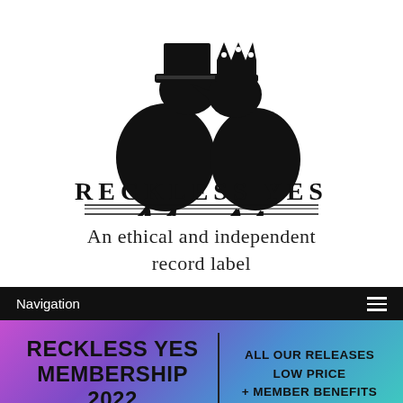[Figure (logo): Reckless Yes logo: two black bird silhouettes (one wearing a top hat, one wearing a crown) facing each other, with the text 'RECKLESS YES' in decorative serif/slab font beneath them, with double lines above and below the text.]
An ethical and independent record label
[Figure (screenshot): Navigation bar: black background with 'Navigation' text on the left and a hamburger menu icon on the right.]
[Figure (infographic): Banner with gradient background (purple to teal). Left side: 'RECKLESS YES MEMBERSHIP 2022' in bold black uppercase text. Vertical divider line. Right side: 'ALL OUR RELEASES LOW PRICE + MEMBER BENEFITS' in bold black uppercase text.]